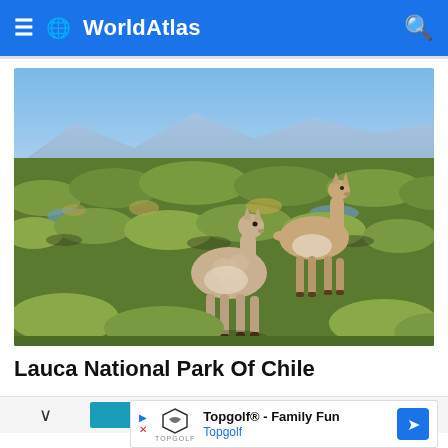WorldAtlas
[Figure (photo): Two vicuñas (one adult, one juvenile) standing on green bofedal wetland grassland with patches of water and golden-brown grass clumps in Lauca National Park, Chile. Clear blue sky in the background.]
Lauca National Park Of Chile
[Figure (infographic): Collapsed section chevron expand control with a teal/blue horizontal bar to the right]
[Figure (other): Advertisement banner: Topgolf® - Family Fun | Topgolf logo with navigation arrow icon]